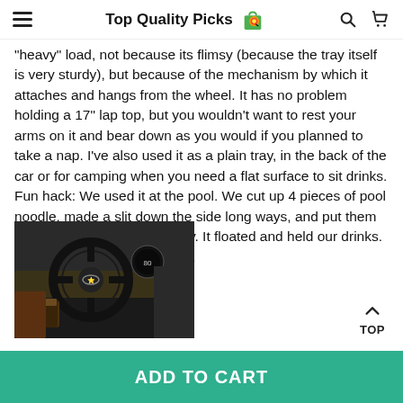Top Quality Picks
"heavy" load, not because its flimsy (because the tray itself is very sturdy), but because of the mechanism by which it attaches and hangs from the wheel. It has no problem holding a 17" lap top, but you wouldn't want to rest your arms on it and bear down as you would if you planned to take a nap. I've also used it as a plain tray, in the back of the car or for camping when you need a flat surface to sit drinks. Fun hack: We used it at the pool. We cut up 4 pieces of pool noodle, made a slit down the side long ways, and put them around the outside of the tray. It floated and held our drinks. Like I said, great little gadget.
[Figure (photo): Photo of a car interior showing the steering wheel area with a cup holder and dashboard of what appears to be a Subaru vehicle.]
TOP